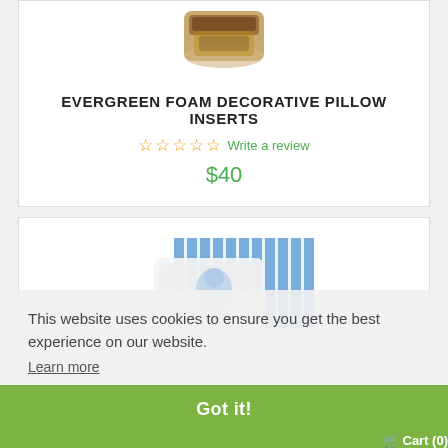[Figure (photo): Product image of Evergreen Foam Decorative Pillow Inserts - partially visible at top]
EVERGREEN FOAM DECORATIVE PILLOW INSERTS
☆☆☆☆☆ Write a review
$40
[Figure (photo): Product image of Kapok Decorative Pillow Inserts - blue and white striped pillow insert]
This website uses cookies to ensure you get the best experience on our website.
Learn more
Got it!
KAPOK DECORATIVE PILLOW INSERTS
🛒 Cart (0)